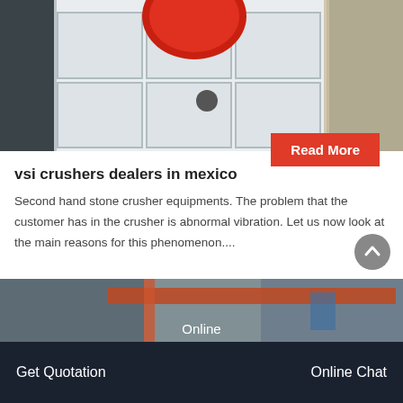[Figure (photo): Industrial jaw crusher machine photographed in a factory setting, white/grey steel body with structural grid panels and circular port, red flywheel visible at top, dark industrial background]
Read More
vsi crushers dealers in mexico
Second hand stone crusher equipments. The problem that the customer has in the crusher is abnormal vibration. Let us now look at the main reasons for this phenomenon....
[Figure (photo): Industrial factory interior with orange crane/overhead equipment and blue machinery visible]
Online
Get Quotation
Online Chat